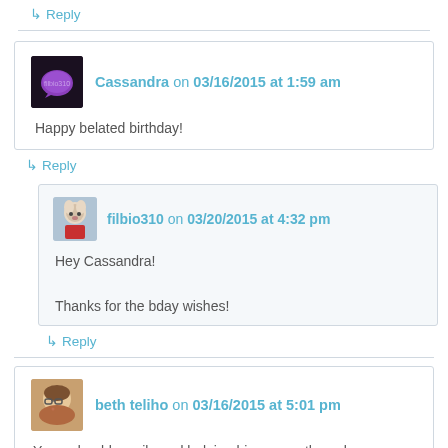↳ Reply
Cassandra on 03/16/2015 at 1:59 am
Happy belated birthday!
↳ Reply
filbio310 on 03/20/2015 at 4:32 pm
Hey Cassandra!

Thanks for the bday wishes!
↳ Reply
beth teliho on 03/16/2015 at 5:01 pm
Your adorable smile and bulging biceps are the only characteristics superseded by your amazing attitude. You WILL be forever young. Age is 70% attitude, I really believe